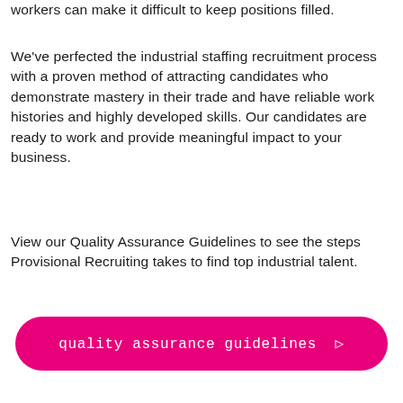workers can make it difficult to keep positions filled.
We've perfected the industrial staffing recruitment process with a proven method of attracting candidates who demonstrate mastery in their trade and have reliable work histories and highly developed skills. Our candidates are ready to work and provide meaningful impact to your business.
View our Quality Assurance Guidelines to see the steps Provisional Recruiting takes to find top industrial talent.
quality assurance guidelines  ▷